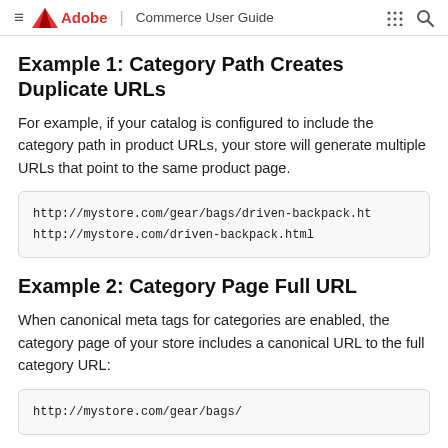Adobe | Commerce User Guide
Example 1: Category Path Creates Duplicate URLs
For example, if your catalog is configured to include the category path in product URLs, your store will generate multiple URLs that point to the same product page.
http://mystore.com/gear/bags/driven-backpack.ht
http://mystore.com/driven-backpack.html
Example 2: Category Page Full URL
When canonical meta tags for categories are enabled, the category page of your store includes a canonical URL to the full category URL:
http://mystore.com/gear/bags/